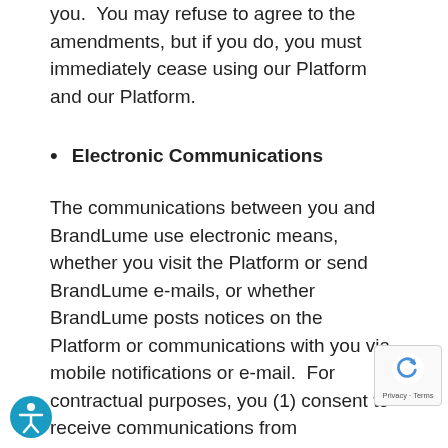you.  You may refuse to agree to the amendments, but if you do, you must immediately cease using our Platform and our Platform.
Electronic Communications
The communications between you and BrandLume use electronic means, whether you visit the Platform or send BrandLume e-mails, or whether BrandLume posts notices on the Platform or communications with you via mobile notifications or e-mail.  For contractual purposes, you (1) consent to receive communications from BrandLume in an electronic form; and (2) agree that all terms, conditions, agreements, notices, disclosures, and other communications that